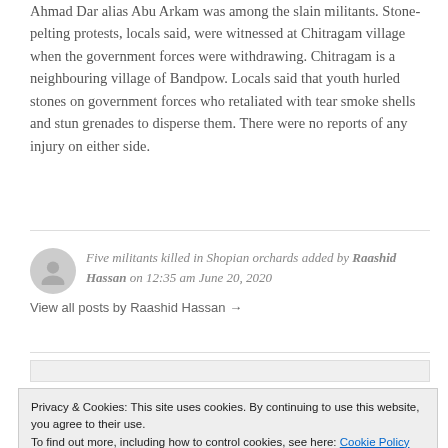Ahmad Dar alias Abu Arkam was among the slain militants. Stone-pelting protests, locals said, were witnessed at Chitragam village when the government forces were withdrawing. Chitragam is a neighbouring village of Bandpow. Locals said that youth hurled stones on government forces who retaliated with tear smoke shells and stun grenades to disperse them. There were no reports of any injury on either side.
Five militants killed in Shopian orchards added by Raashid Hassan on 12:35 am June 20, 2020
View all posts by Raashid Hassan →
Privacy & Cookies: This site uses cookies. By continuing to use this website, you agree to their use. To find out more, including how to control cookies, see here: Cookie Policy